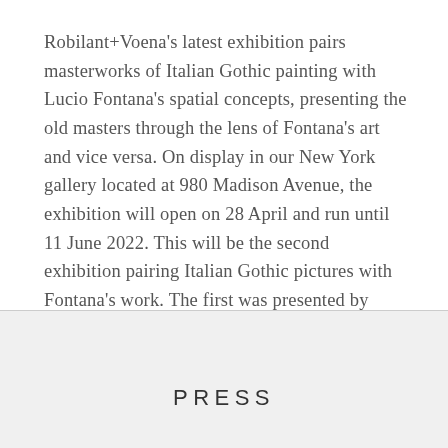Robilant+Voena's latest exhibition pairs masterworks of Italian Gothic painting with Lucio Fontana's spatial concepts, presenting the old masters through the lens of Fontana's art and vice versa. On display in our New York gallery located at 980 Madison Avenue, the exhibition will open on 28 April and run until 11 June 2022. This will be the second exhibition pairing Italian Gothic pictures with Fontana's work. The first was presented by Marco Voena at Sperone Westwater in February 1999, Gold. Gothic...
PRESS